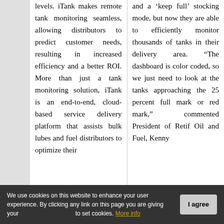levels. iTank makes remote tank monitoring seamless, allowing distributors to predict customer needs, resulting in increased efficiency and a better ROI. More than just a tank monitoring solution, iTank is an end-to-end, cloud-based service delivery platform that assists bulk lubes and fuel distributors to optimize their
and a ‘keep full’ stocking mode, but now they are able to efficiently monitor thousands of tanks in their delivery area. “The dashboard is color coded, so we just need to look at the tanks approaching the 25 percent full mark or red mark,” commented President of Retif Oil and Fuel, Kenny
We use cookies on this website to enhance your user experience. By clicking any link on this page you are giving your consent to set cookies. More info